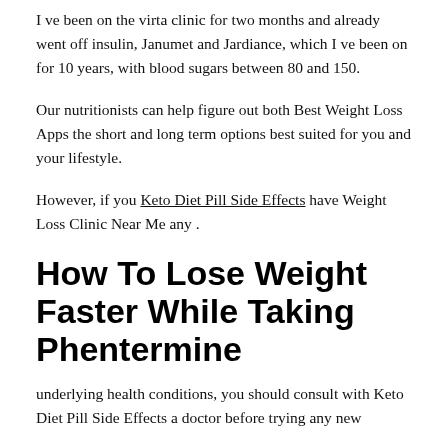I ve been on the virta clinic for two months and already went off insulin, Janumet and Jardiance, which I ve been on for 10 years, with blood sugars between 80 and 150.
Our nutritionists can help figure out both Best Weight Loss Apps the short and long term options best suited for you and your lifestyle.
However, if you Keto Diet Pill Side Effects have Weight Loss Clinic Near Me any .
How To Lose Weight Faster While Taking Phentermine
underlying health conditions, you should consult with Keto Diet Pill Side Effects a doctor before trying any new